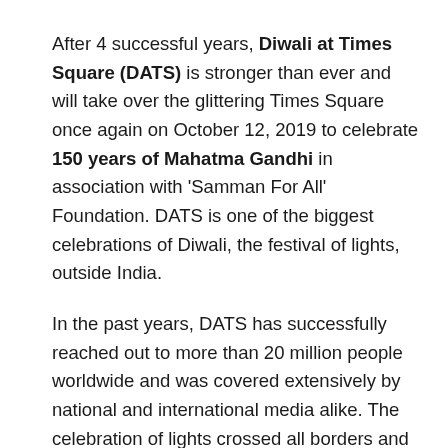After 4 successful years, Diwali at Times Square (DATS) is stronger than ever and will take over the glittering Times Square once again on October 12, 2019 to celebrate 150 years of Mahatma Gandhi in association with 'Samman For All' Foundation. DATS is one of the biggest celebrations of Diwali, the festival of lights, outside India.
In the past years, DATS has successfully reached out to more than 20 million people worldwide and was covered extensively by national and international media alike. The celebration of lights crossed all borders and was featured in more than 30 media outlets worldwide including Associated Press, New York Times and Huffington Post.
DATS is a perfect platform for you to promote your